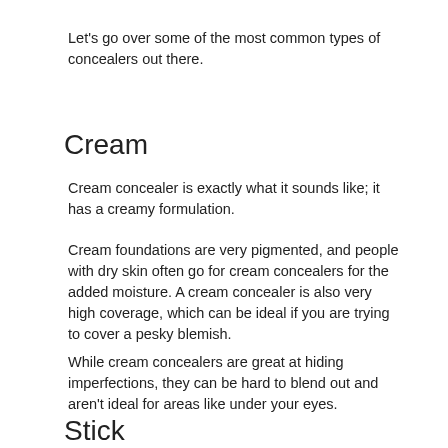Let's go over some of the most common types of concealers out there.
Cream
Cream concealer is exactly what it sounds like; it has a creamy formulation.
Cream foundations are very pigmented, and people with dry skin often go for cream concealers for the added moisture. A cream concealer is also very high coverage, which can be ideal if you are trying to cover a pesky blemish.
While cream concealers are great at hiding imperfections, they can be hard to blend out and aren't ideal for areas like under your eyes.
Stick